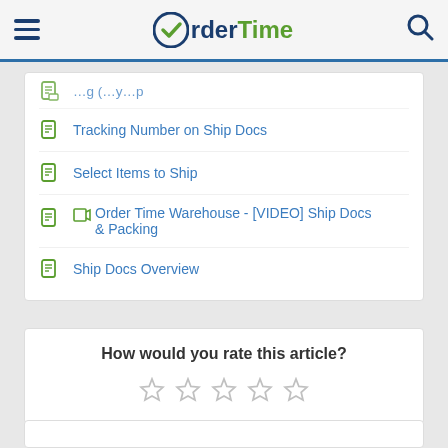OrderTime navigation header with hamburger menu and search icon
Tracking Number on Ship Docs
Select Items to Ship
Order Time Warehouse - [VIDEO] Ship Docs & Packing
Ship Docs Overview
How would you rate this article?